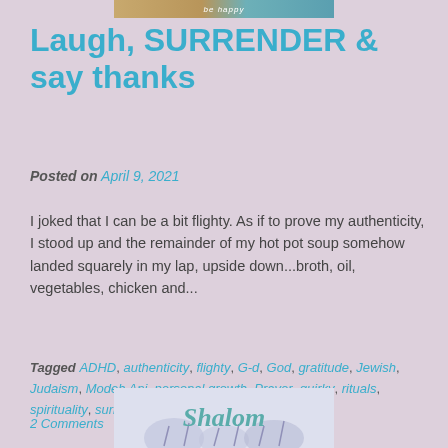[Figure (photo): Partial top image strip showing 'be happy' text on a colorful banner]
Laugh, SURRENDER & say thanks
Posted on April 9, 2021
I joked that I can be a bit flighty. As if to prove my authenticity, I stood up and the remainder of my hot pot soup somehow landed squarely in my lap, upside down...broth, oil, vegetables, chicken and...
Tagged ADHD, authenticity, flighty, G-d, God, gratitude, Jewish, Judaism, Modeh Ani, personal growth, Prayer, quirky, rituals, spirituality, surrender, transformation
2 Comments
[Figure (photo): Bottom image showing 'Shalom' text in teal cursive script over a blurred floral/nature background]